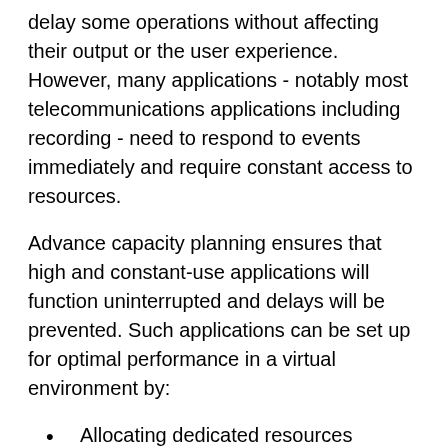delay some operations without affecting their output or the user experience. However, many applications - notably most telecommunications applications including recording - need to respond to events immediately and require constant access to resources.
Advance capacity planning ensures that high and constant-use applications will function uninterrupted and delays will be prevented. Such applications can be set up for optimal performance in a virtual environment by:
Allocating dedicated resources
Allocating more resources to their VM
Placing the same VM with the...